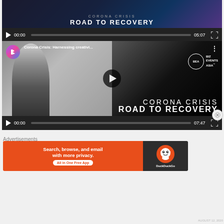[Figure (screenshot): Video player 1: Corona Crisis Road to Recovery video, showing title card with duration 05:07, paused at 00:00]
[Figure (screenshot): YouTube video thumbnail: Corona Crisis: Harnessing creativi... with BEA Biz Events Asia logo and Corona Crisis Road to Recovery text, duration 07:47, paused at 00:00]
Advertisements
[Figure (screenshot): DuckDuckGo advertisement banner: Search, browse, and email with more privacy. All in One Free App, with DuckDuckGo logo on dark right side]